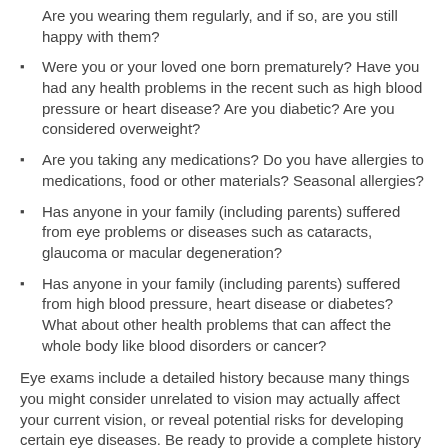Are you wearing them regularly, and if so, are you still happy with them?
Were you or your loved one born prematurely? Have you had any health problems in the recent such as high blood pressure or heart disease? Are you diabetic? Are you considered overweight?
Are you taking any medications? Do you have allergies to medications, food or other materials? Seasonal allergies?
Has anyone in your family (including parents) suffered from eye problems or diseases such as cataracts, glaucoma or macular degeneration?
Has anyone in your family (including parents) suffered from high blood pressure, heart disease or diabetes? What about other health problems that can affect the whole body like blood disorders or cancer?
Eye exams include a detailed history because many things you might consider unrelated to vision may actually affect your current vision, or reveal potential risks for developing certain eye diseases. Be ready to provide a complete history at your next eye exam, and help the front desk, and your eye doctor, best prepare...